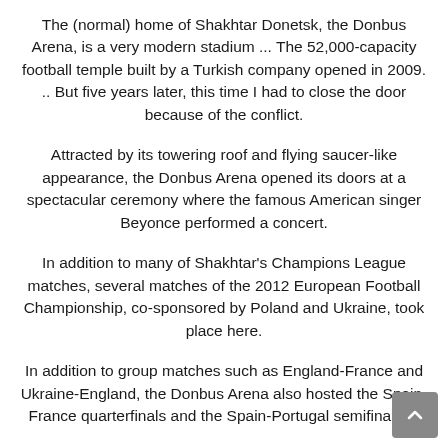The (normal) home of Shakhtar Donetsk, the Donbus Arena, is a very modern stadium ... The 52,000-capacity football temple built by a Turkish company opened in 2009. .. But five years later, this time I had to close the door because of the conflict.
Attracted by its towering roof and flying saucer-like appearance, the Donbus Arena opened its doors at a spectacular ceremony where the famous American singer Beyonce performed a concert.
In addition to many of Shakhtar's Champions League matches, several matches of the 2012 European Football Championship, co-sponsored by Poland and Ukraine, took place here.
In addition to group matches such as England-France and Ukraine-England, the Donbus Arena also hosted the Spain-France quarterfinals and the Spain-Portugal semifinals ...
The football sanctuary, where many world stars are